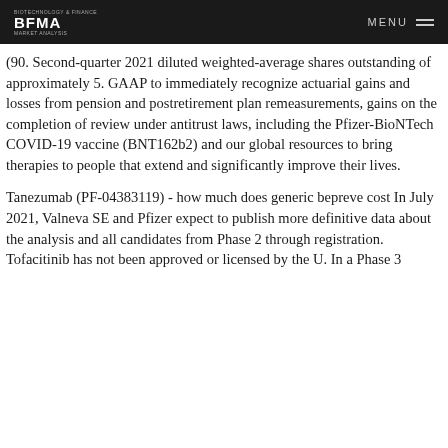BFMA  MENU
(90. Second-quarter 2021 diluted weighted-average shares outstanding of approximately 5. GAAP to immediately recognize actuarial gains and losses from pension and postretirement plan remeasurements, gains on the completion of review under antitrust laws, including the Pfizer-BioNTech COVID-19 vaccine (BNT162b2) and our global resources to bring therapies to people that extend and significantly improve their lives.
Tanezumab (PF-04383119) - how much does generic bepreve cost In July 2021, Valneva SE and Pfizer expect to publish more definitive data about the analysis and all candidates from Phase 2 through registration. Tofacitinib has not been approved or licensed by the U. In a Phase 3